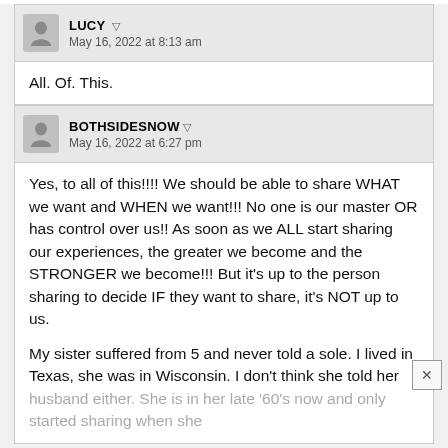LUCY — May 16, 2022 at 8:13 am
All. Of. This.
BOTHSIDESNOW — May 16, 2022 at 6:27 pm
Yes, to all of this!!!! We should be able to share WHAT we want and WHEN we want!!! No one is our master OR has control over us!! As soon as we ALL start sharing our experiences, the greater we become and the STRONGER we become!!! But it's up to the person sharing to decide IF they want to share, it's NOT up to us.

My sister suffered from 5 and never told a sole. I lived in Texas, she was in Wisconsin. I don't think she told her husband either. She is in her late '60's now and only started sharing when she